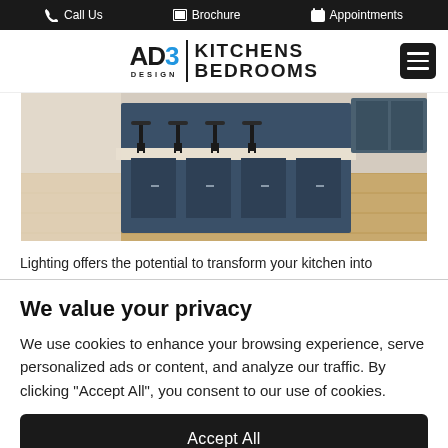Call Us   Brochure   Appointments
[Figure (logo): AD3 Design Kitchens Bedrooms logo with hamburger menu button]
[Figure (photo): Kitchen interior with dark blue island, bar stools, and light wood flooring]
Lighting offers the potential to transform your kitchen into
We value your privacy
We use cookies to enhance your browsing experience, serve personalized ads or content, and analyze our traffic. By clicking "Accept All", you consent to our use of cookies.
Accept All